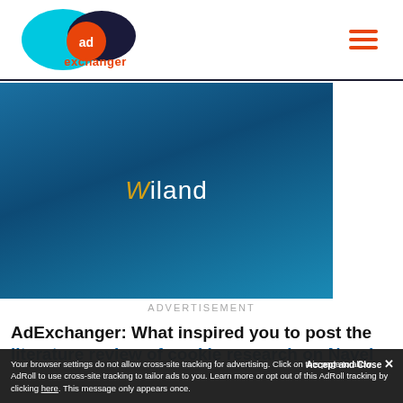AdExchanger logo and navigation
[Figure (logo): Wiland advertisement banner with blue gradient background and Wiland logo text in white/gold on dark blue background]
ADVERTISEMENT
AdExchanger: What inspired you to post the literature review of cookie research on Navel
GARRETT JOHNSON: It's about as fulfilling a...
Accept and Close × Your browser settings do not allow cross-site tracking for advertising. Click on this page to allow AdRoll to use cross-site tracking to tailor ads to you. Learn more or opt out of this AdRoll tracking by clicking here. This message only appears once.